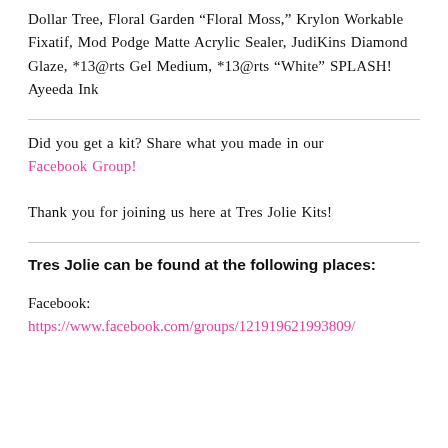Dollar Tree, Floral Garden “Floral Moss,” Krylon Workable Fixatif, Mod Podge Matte Acrylic Sealer, JudiKins Diamond Glaze, *13@rts Gel Medium, *13@rts “White” SPLASH! Ayeeda Ink
Did you get a kit? Share what you made in our Facebook Group!
Thank you for joining us here at Tres Jolie Kits!
Tres Jolie can be found at the following places:
Facebook:
https://www.facebook.com/groups/121919621993809/